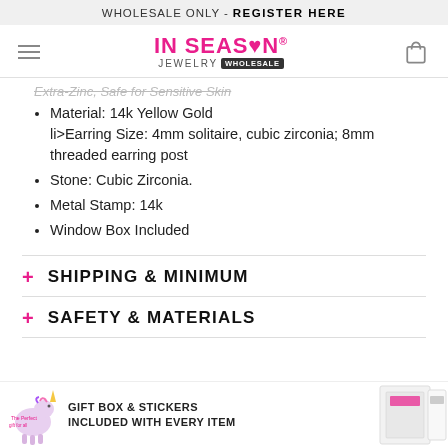WHOLESALE ONLY - REGISTER HERE
[Figure (logo): In Season Jewelry Wholesale logo with hamburger menu and shopping bag icon]
Extra-Zinc, Safe for Sensitive Skin
Material: 14k Yellow Gold
li>Earring Size: 4mm solitaire, cubic zirconia; 8mm threaded earring post
Stone: Cubic Zirconia.
Metal Stamp: 14k
Window Box Included
+ SHIPPING & MINIMUM
+ SAFETY & MATERIALS
GIFT BOX & STICKERS INCLUDED WITH EVERY ITEM